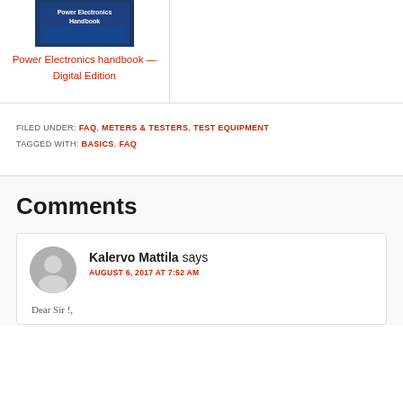[Figure (illustration): Book cover thumbnail for Power Electronics Handbook - Digital Edition with blue background]
Power Electronics handbook — Digital Edition
FILED UNDER: FAQ, METERS & TESTERS, TEST EQUIPMENT
TAGGED WITH: BASICS, FAQ
Comments
Kalervo Mattila says
AUGUST 6, 2017 AT 7:52 AM
Dear Sir !,